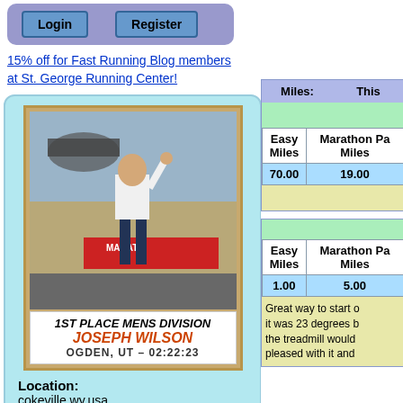Login | Register
15% off for Fast Running Blog members at St. George Running Center!
[Figure (photo): Race photo of Joseph Wilson, 1st Place Mens Division, Ogden, UT - 02:22:23]
Location: cokeville,wy,usa
| Miles: | This |
| --- | --- |
| Easy Miles | Marathon Pa Miles |
| 70.00 | 19.00 |
| Easy Miles | Marathon Pa Miles |
| --- | --- |
| 1.00 | 5.00 |
Great way to start o it was 23 degrees b the treadmill would pleased with it and